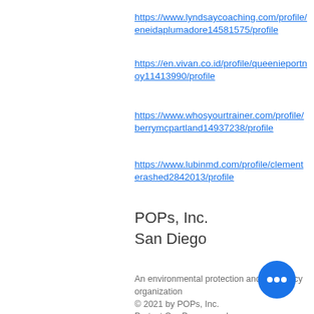https://www.lyndsaycoaching.com/profile/eneidaplumadore14581575/profile
https://en.vivan.co.id/profile/queenieportnoy11413990/profile
https://www.whosyourtrainer.com/profile/berrymcpartland14937238/profile
https://www.lubinmd.com/profile/clementerashed2842013/profile
POPs, Inc.
San Diego
An environmental protection and advocacy organization
© 2021 by POPs, Inc.
Protect Our Preserves, Inc.
Web design:
Aisa Ross Community Nonprofit Corporation
EIN 84-3428131